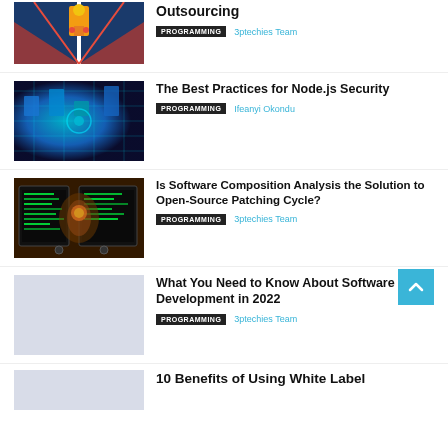[Figure (illustration): Cartoon rocket/robot on a road with red accents - article thumbnail]
Outsourcing
PROGRAMMING  3ptechies Team
[Figure (photo): Blue digital network/server abstract image - article thumbnail]
The Best Practices for Node.js Security
PROGRAMMING  Ifeanyi Okondu
[Figure (photo): Man working at dual monitors with code - article thumbnail]
Is Software Composition Analysis the Solution to Open-Source Patching Cycle?
PROGRAMMING  3ptechies Team
[Figure (illustration): Light gray placeholder image - article thumbnail]
What You Need to Know About Software Development in 2022
PROGRAMMING  3ptechies Team
[Figure (illustration): Light gray placeholder image - article thumbnail (partial)]
10 Benefits of Using White Label